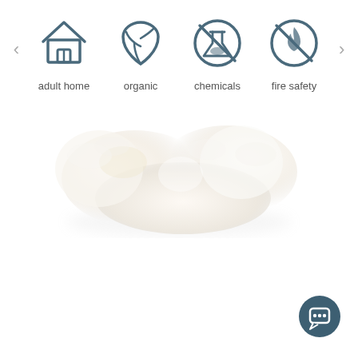[Figure (infographic): Four category icons in a row: adult home (house icon), organic (leaf drop icon), chemicals (flask with cross icon), fire safety (flame with cross icon), with left and right navigation arrows on sides]
adult home | organic | chemicals | fire safety
[Figure (photo): White fluffy wool or cotton material photographed on a white background, showing soft texture and natural off-white color]
[Figure (other): Dark teal circular chat/support button with speech bubble icon in bottom right corner]